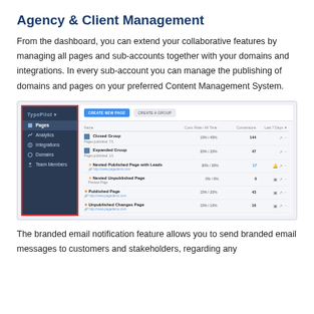Agency & Client Management
From the dashboard, you can extend your collaborative features by managing all pages and sub-accounts together with your domains and integrations. In every sub-account you can manage the publishing of domains and pages on your preferred Content Management System.
[Figure (screenshot): Screenshot of a dashboard interface showing a sidebar with navigation items (Pages, Analytics, Integrations, Domains, Team Members) highlighted with a red border, and a main panel with Create New Page and Create a Group buttons, followed by a table listing page groups and pages with statistics columns.]
The branded email notification feature allows you to send branded email messages to customers and stakeholders, regarding any